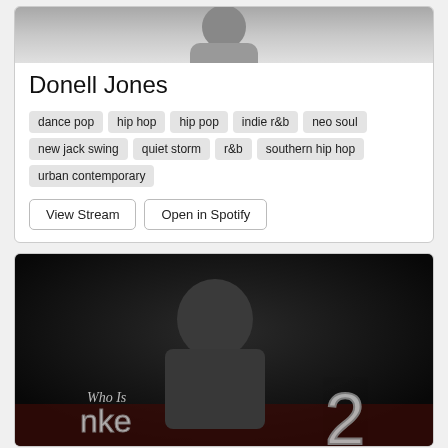[Figure (photo): Black and white photo of Donell Jones (partial, top cropped)]
Donell Jones
dance pop
hip hop
hip pop
indie r&b
neo soul
new jack swing
quiet storm
r&b
southern hip hop
urban contemporary
View Stream | Open in Spotify
[Figure (photo): Album cover: 'Who Is Nke 2' - dark background with man in suit looking down, chrome-style text]